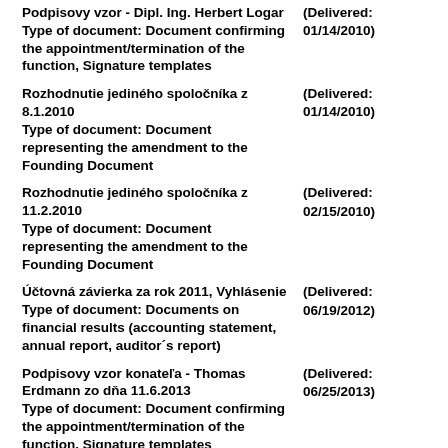Podpisovy vzor - Dipl. Ing. Herbert Logar | (Delivered: 01/14/2010)
Type of document: Document confirming the appointment/termination of the function, Signature templates
Rozhodnutie jediného spoločníka z 8.1.2010 | (Delivered: 01/14/2010)
Type of document: Document representing the amendment to the Founding Document
Rozhodnutie jediného spoločníka z 11.2.2010 | (Delivered: 02/15/2010)
Type of document: Document representing the amendment to the Founding Document
Účtovná závierka za rok 2011, Vyhlásenie | (Delivered: 06/19/2012)
Type of document: Documents on financial results (accounting statement, annual report, auditor´s report)
Podpisovy vzor konateľa - Thomas Erdmann zo dňa 11.6.2013 | (Delivered: 06/25/2013)
Type of document: Document confirming the appointment/termination of the function, Signature templates